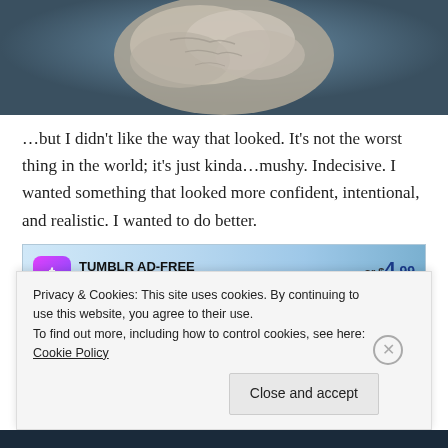[Figure (photo): Close-up photo of a sculpted clay or digital 3D object with a rough, wrinkled surface against a dark teal background]
…but I didn't like the way that looked. It's not the worst thing in the world; it's just kinda…mushy. Indecisive. I wanted something that looked more confident, intentional, and realistic. I wanted to do better.
[Figure (screenshot): Tumblr Ad-Free Browsing advertisement banner showing price of $4.99 a month]
Privacy & Cookies: This site uses cookies. By continuing to use this website, you agree to their use.
To find out more, including how to control cookies, see here: Cookie Policy
Close and accept